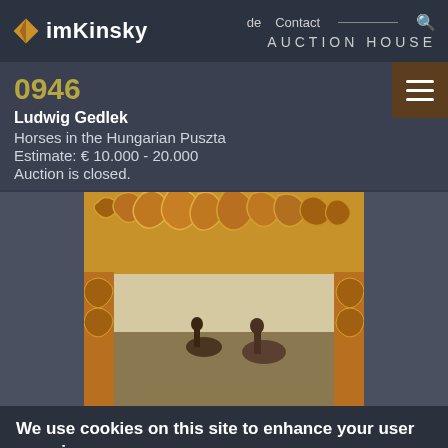imKinsky AUCTION HOUSE | de  Contact
0946
Ludwig Gedlek
Horses in the Hungarian Puszta
Estimate: € 10.000 - 20.000
Auction is closed.
[Figure (photo): Partial view of an ornate gilt frame with scrollwork carvings at the top, with a painting of horses and riders visible inside the frame.]
We use cookies on this site to enhance your user experience
By clicking the Accept button, you agree to us doing so. More info
Accept